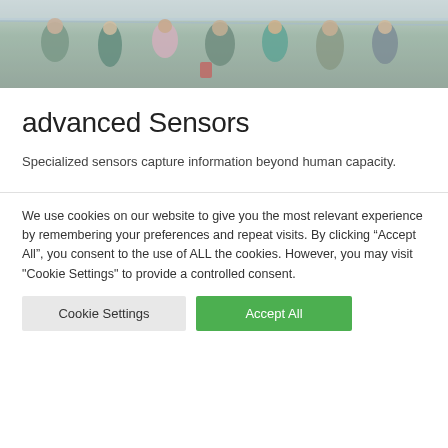[Figure (photo): Crowd of people in a public space, blurred motion, viewed from above or behind a glass railing. People wearing colorful clothing.]
advanced Sensors
Specialized sensors capture information beyond human capacity.
We use cookies on our website to give you the most relevant experience by remembering your preferences and repeat visits. By clicking “Accept All”, you consent to the use of ALL the cookies. However, you may visit "Cookie Settings" to provide a controlled consent.
Cookie Settings | Accept All